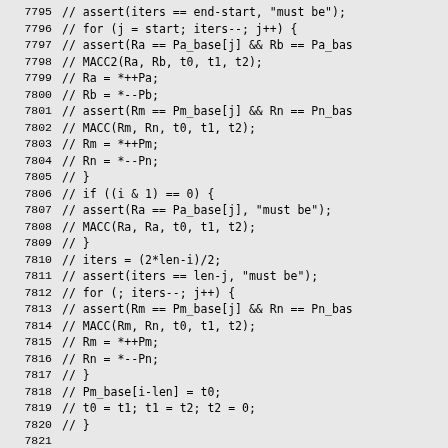Source code listing, lines 7795-7824
7795    //      assert(iters == end-start, "must be");
7796    //      for (j = start; iters--; j++) {
7797    //        assert(Ra == Pa_base[j] && Rb == Pa_bas
7798    //        MACC2(Ra, Rb, t0, t1, t2);
7799    //        Ra = *++Pa;
7800    //        Rb = *--Pb;
7801    //        assert(Rm == Pm_base[j] && Rn == Pn_bas
7802    //        MACC(Rm, Rn, t0, t1, t2);
7803    //        Rm = *++Pm;
7804    //        Rn = *--Pn;
7805    //      }
7806    //      if ((i & 1) == 0) {
7807    //        assert(Ra == Pa_base[j], "must be");
7808    //        MACC(Ra, Ra, t0, t1, t2);
7809    //      }
7810    //      iters = (2*len-i)/2;
7811    //      assert(iters == len-j, "must be");
7812    //      for (; iters--; j++) {
7813    //        assert(Rm == Pm_base[j] && Rn == Pn_bas
7814    //        MACC(Rm, Rn, t0, t1, t2);
7815    //        Rm = *++Pm;
7816    //        Rn = *--Pn;
7817    //      }
7818    //      Pm_base[i-len] = t0;
7819    //      t0 = t1; t1 = t2; t2 = 0;
7820    //    }
7821
7822    //    while (t0)
7823    //      t0 = sub(Pm_base, Pn_base, t0, len);
7824    //  }